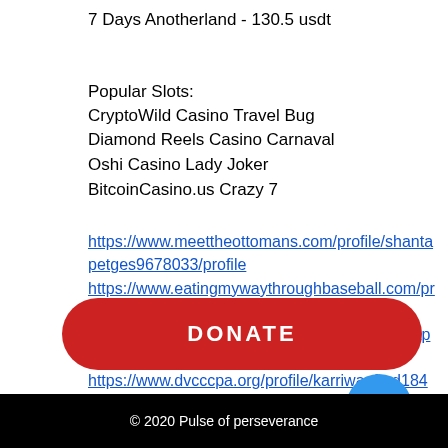7 Days Anotherland - 130.5 usdt
Popular Slots:
CryptoWild Casino Travel Bug
Diamond Reels Casino Carnaval
Oshi Casino Lady Joker
BitcoinCasino.us Crazy 7
https://www.meettheottomans.com/profile/shantapetges9678033/profile
https://www.eatingmywaythroughbaseball.com/profile/lorrettaszumski12148469/profile
https://www.tattoohannover.com/profile/ramonapappan10492317/profile
https://www.dvcccpa.org/profile/karriwauford18462850/profile
DONATE
© 2020 Pulse of perseverance